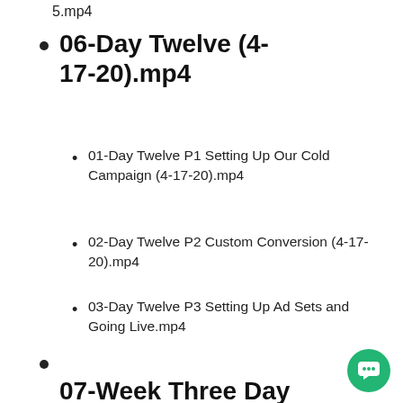5.mp4
06-Day Twelve (4-17-20).mp4
01-Day Twelve P1 Setting Up Our Cold Campaign (4-17-20).mp4
02-Day Twelve P2 Custom Conversion (4-17-20).mp4
03-Day Twelve P3 Setting Up Ad Sets and Going Live.mp4
04-Day Twelve Video Four- LIVE WITH FRANK KERN.mp4
07-Week Three Day